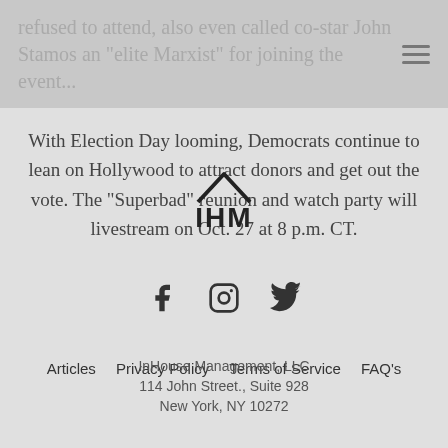refused to attend, also even called co-star John Stamos an "elite Marxist" for joining the event...
With Election Day looming, Democrats continue to lean on Hollywood to attract donors and get out the vote. The “Superbad” reunion and watch party will livestream on Oct. 27 at 8 p.m. CT.
[Figure (logo): IHM logo with house icon above the letters IHM]
[Figure (logo): Social media icons: Facebook, Instagram, Twitter]
Articles
Privacy Policy
Terms of Service
FAQ's
InHouse Management, LLC
114 John Street., Suite 928
New York, NY 10272